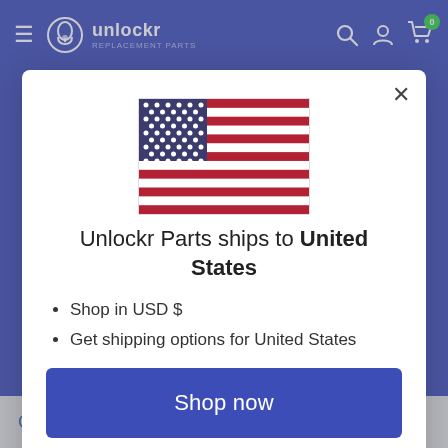unlockr REPLACEMENT PARTS
[Figure (illustration): US flag SVG illustration]
Unlockr Parts ships to United States
Shop in USD $
Get shipping options for United States
Shop now
Change shipping country
Canada